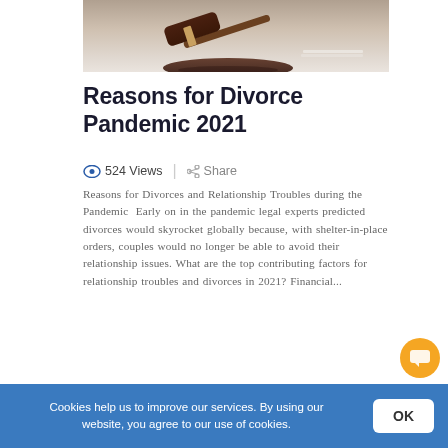[Figure (photo): Close-up photo of a wooden judge's gavel resting on a sound block, with papers blurred in the background on a light surface.]
Reasons for Divorce Pandemic 2021
524 Views  |  Share
Reasons for Divorces and Relationship Troubles during the Pandemic  Early on in the pandemic legal experts predicted divorces would skyrocket globally because, with shelter-in-place orders, couples would no longer be able to avoid their relationship issues. What are the top contributing factors for relationship troubles and divorces in 2021? Financial...
Cookies help us to improve our services. By using our website, you agree to our use of cookies.